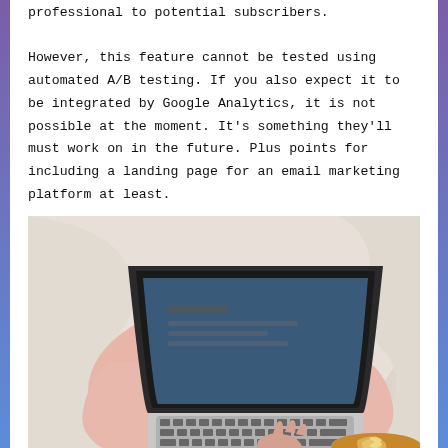professional to potential subscribers.

However, this feature cannot be tested using automated A/B testing. If you also expect it to be integrated by Google Analytics, it is not possible at the moment. It's something they'll must work on in the future. Plus points for including a landing page for an email marketing platform at least.
[Figure (photo): Overhead view of a person sitting cross-legged on a white bed, using a laptop computer, and holding a latte coffee cup with latte art in their right hand. The person is wearing light pink clothing.]